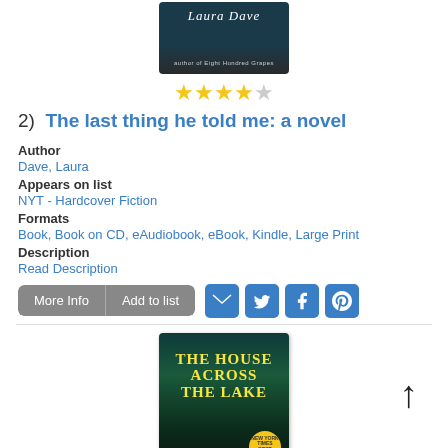[Figure (illustration): Book cover for 'The last thing he told me: a novel' by Laura Dave, teal/dark background with author name in italic script]
★★★★☆
2)  The last thing he told me: a novel
Author
Dave, Laura
Appears on list
NYT - Hardcover Fiction
Formats
Book, Book on CD, eAudiobook, eBook, Kindle, Large Print
Description
Read Description
[Figure (illustration): Social sharing icons: email, twitter, facebook, pinterest; and More Info / Add to list buttons]
[Figure (illustration): Book cover for 'The House Across the Lake' with yellow title text on dark teal forest background, New York Times Bestseller badge]
↑ (scroll up arrow)